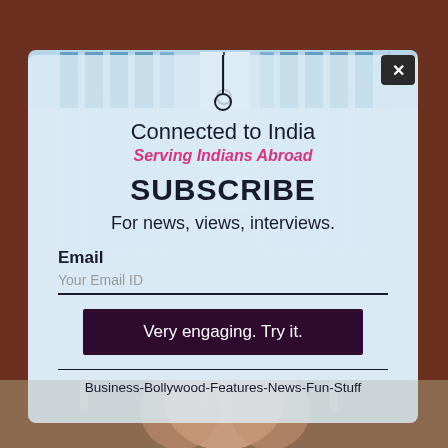[Figure (illustration): Background showing blue glass building facade and dark reddish-brown surroundings with a modal popup overlay]
Connected to India
Serving Indians Abroad
SUBSCRIBE
For news, views, interviews.
Email
Your Email ID
Very engaging. Try it.
Business-Bollywood-Features-News-Fun-Stuff